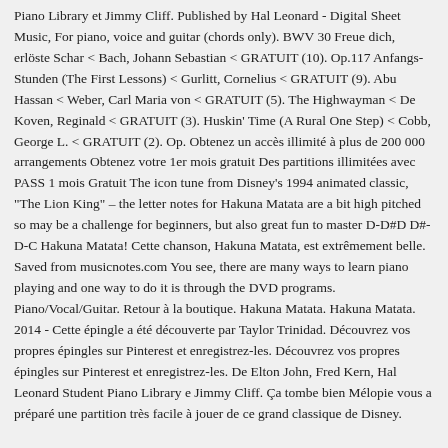Piano Library et Jimmy Cliff. Published by Hal Leonard - Digital Sheet Music, For piano, voice and guitar (chords only). BWV 30 Freue dich, erlöste Schar < Bach, Johann Sebastian < GRATUIT (10). Op.117 Anfangs-Stunden (The First Lessons) < Gurlitt, Cornelius < GRATUIT (9). Abu Hassan < Weber, Carl Maria von < GRATUIT (5). The Highwayman < De Koven, Reginald < GRATUIT (3). Huskin' Time (A Rural One Step) < Cobb, George L. < GRATUIT (2). Op. Obtenez un accès illimité à plus de 200 000 arrangements Obtenez votre 1er mois gratuit Des partitions illimitées avec PASS 1 mois Gratuit The icon tune from Disney's 1994 animated classic, "The Lion King" – the letter notes for Hakuna Matata are a bit high pitched so may be a challenge for beginners, but also great fun to master D-D#D D#-D-C Hakuna Matata! Cette chanson, Hakuna Matata, est extrêmement belle. Saved from musicnotes.com You see, there are many ways to learn piano playing and one way to do it is through the DVD programs. Piano/Vocal/Guitar. Retour à la boutique. Hakuna Matata. Hakuna Matata. 2014 - Cette épingle a été découverte par Taylor Trinidad. Découvrez vos propres épingles sur Pinterest et enregistrez-les. Découvrez vos propres épingles sur Pinterest et enregistrez-les. De Elton John, Fred Kern, Hal Leonard Student Piano Library e Jimmy Cliff. Ça tombe bien Mélopie vous a préparé une partition très facile à jouer de ce grand classique de Disney.